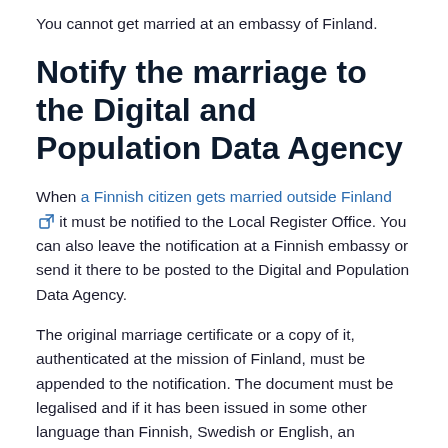You cannot get married at an embassy of Finland.
Notify the marriage to the Digital and Population Data Agency
When a Finnish citizen gets married outside Finland it must be notified to the Local Register Office. You can also leave the notification at a Finnish embassy or send it there to be posted to the Digital and Population Data Agency.
The original marriage certificate or a copy of it, authenticated at the mission of Finland, must be appended to the notification. The document must be legalised and if it has been issued in some other language than Finnish, Swedish or English, an authorised translation in one of these languages